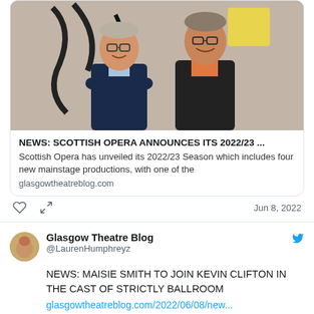[Figure (photo): Two men standing and smiling, one in dark jacket with arms crossed, one in black suit with orange shirt, in front of abstract artwork]
NEWS: SCOTTISH OPERA ANNOUNCES ITS 2022/23 ...
Scottish Opera has unveiled its 2022/23 Season which includes four new mainstage productions, with one of the
glasgowtheatreblog.com
Jun 8, 2022
Glasgow Theatre Blog
@LaurenHumphreyz
NEWS: MAISIE SMITH TO JOIN KEVIN CLIFTON IN THE CAST OF STRICTLY BALLROOM
glasgowtheatreblog.com/2022/06/08/new...
[Figure (photo): Bottom portion of a movie/musical promotional image with text: THE HIT MUSICAL BASED ON THE ICONIC FILM]